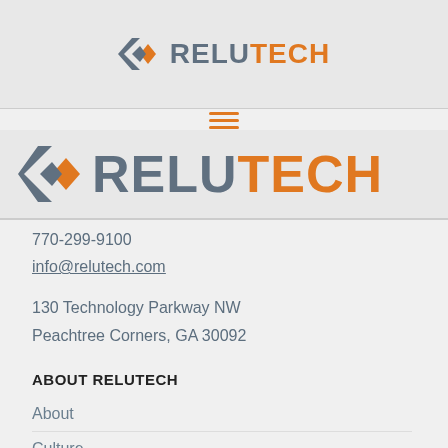[Figure (logo): Relutech logo small in navigation bar - diamond/arrow icon in orange and gray, text RELU in gray and TECH in orange]
[Figure (logo): Relutech logo large - diamond/arrow icon in orange and gray, text RELU in gray and TECH in orange, larger size]
770-299-9100
info@relutech.com
130 Technology Parkway NW
Peachtree Corners, GA 30092
ABOUT RELUTECH
About
Culture
Careers
Our Team